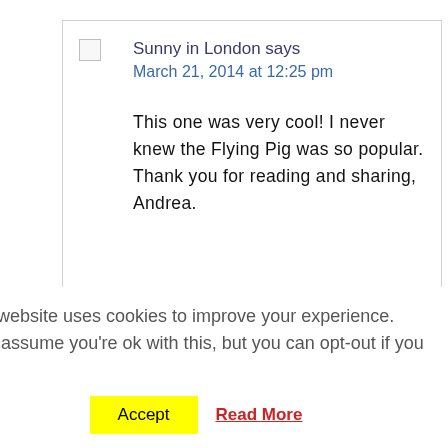Sunny in London says
March 21, 2014 at 12:25 pm
This one was very cool! I never knew the Flying Pig was so popular. Thank you for reading and sharing, Andrea.
This website uses cookies to improve your experience. We'll assume you're ok with this, but you can opt-out if you wish.
Accept
Read More